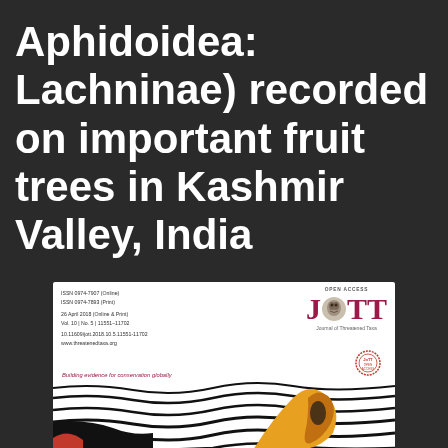Aphidoidea: Lachninae) recorded on important fruit trees in Kashmir Valley, India
[Figure (illustration): Cover page of Journal of Threatened Taxa (JoTT), Vol. 10, No. 5, 26 April 2018. Shows the JoTT logo with large red-maroon letters J, decorative circle, T, T. Includes ISSN numbers, date, volume/issue info, DOI, website, tagline 'Building evidence for conservation globally', and decorative artwork of black-and-white wave patterns with a yellow/orange creature at the bottom right.]